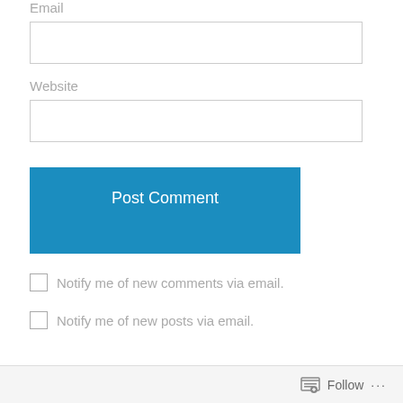Email
Website
Post Comment
Notify me of new comments via email.
Notify me of new posts via email.
Follow